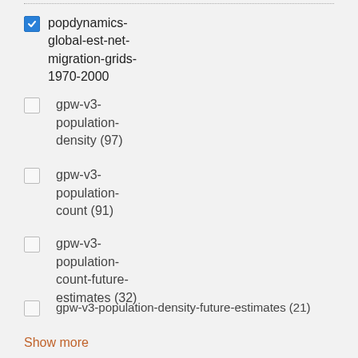popdynamics-global-est-net-migration-grids-1970-2000 [checked]
gpw-v3-population-density (97)
gpw-v3-population-count (91)
gpw-v3-population-count-future-estimates (32)
gpw-v3-population-density-future-estimates (21)
Show more